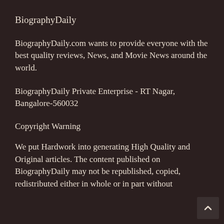BiographyDaily
BiographyDaily.com wants to provide everyone with the best quality reviews, News, and Movie News around the world.
BiographyDaily Private Enterprise - RT Nagar, Bangalore-560032
Copyright Warning
We put Hardwork into generating High Quality and Original articles. The content published on BiographyDaily may not be republished, copied, redistributed either in whole or in part without